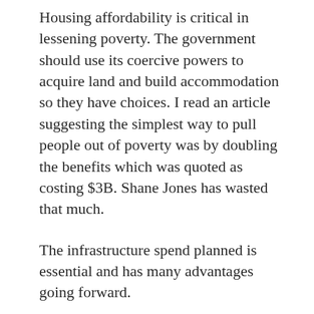Housing affordability is critical in lessening poverty. The government should use its coercive powers to acquire land and build accommodation so they have choices. I read an article suggesting the simplest way to pull people out of poverty was by doubling the benefits which was quoted as costing $3B. Shane Jones has wasted that much.
The infrastructure spend planned is essential and has many advantages going forward.
The last point is one of the most important. We should set our macro economic to improve per capita productivity. Every policy and